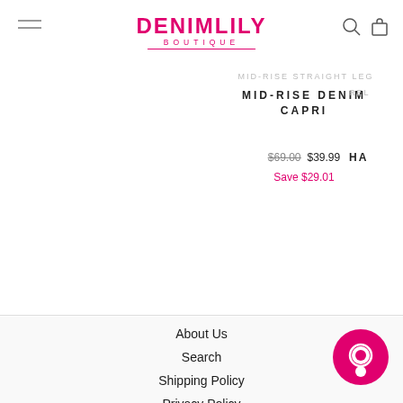DENIMLILY BOUTIQUE
MID-RISE DENIM CAPRI
$69.00 $39.99 Save $29.01
About Us
Search
Shipping Policy
Privacy Policy
Refund Policy